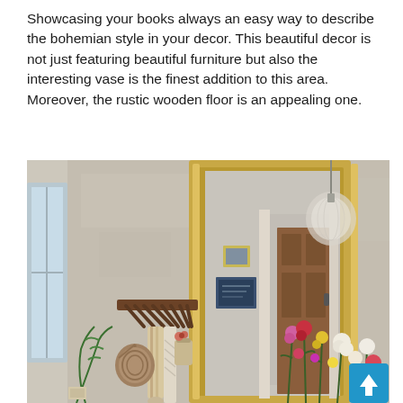Showcasing your books always an easy way to describe the bohemian style in your decor. This beautiful decor is not just featuring beautiful furniture but also the interesting vase is the finest addition to this area. Moreover, the rustic wooden floor is an appealing one.
[Figure (photo): Interior hallway/entryway with rustic bohemian decor: textured plaster walls, a large ornate gold-framed mirror reflecting a brown wooden door, a wooden coat rack on the left wall with hanging bags, scarves and accessories, fresh colorful flowers in the foreground (pink, red, yellow, white blooms), a glass pendant light visible in the upper right, and a small framed picture on the wall. A blue scroll-to-top button is overlaid in the bottom-right corner.]